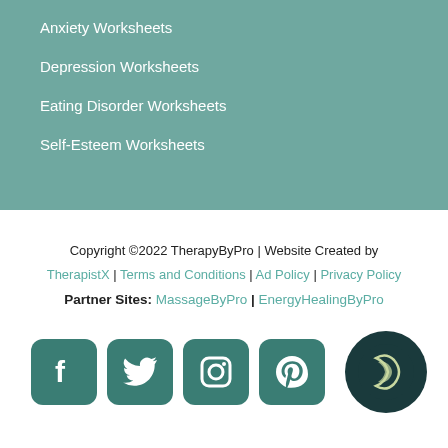Anxiety Worksheets
Depression Worksheets
Eating Disorder Worksheets
Self-Esteem Worksheets
Copyright ©2022 TherapyByPro | Website Created by TherapistX | Terms and Conditions | Ad Policy | Privacy Policy
Partner Sites: MassageByPro | EnergyHealingByPro
[Figure (logo): Social media icons: Facebook, Twitter, Instagram, Pinterest, and TherapyByPro logo circle]